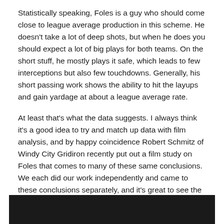Statistically speaking, Foles is a guy who should come close to league average production in this scheme. He doesn't take a lot of deep shots, but when he does you should expect a lot of big plays for both teams. On the short stuff, he mostly plays it safe, which leads to few interceptions but also few touchdowns. Generally, his short passing work shows the ability to hit the layups and gain yardage at about a league average rate.
At least that's what the data suggests. I always think it's a good idea to try and match up data with film analysis, and by happy coincidence Robert Schmitz of Windy City Gridiron recently put out a film study on Foles that comes to many of these same conclusions. We each did our work independently and came to these conclusions separately, and it's great to see the film and stats reinforce each other. I highly recommend you check out his video below.
[Figure (other): Black video placeholder/embed area at the bottom of the page]